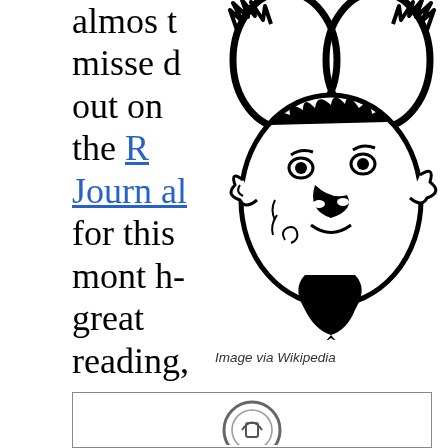almost missed out on the R Journal for this month- great reading,
[Figure (illustration): Black and white illustration of the GNU wildebeest mascot face with horns, beard and expressive features — the GNU project logo]
Image via Wikipedia
[Figure (illustration): Partially visible circular logo or emblem at the bottom of the page inside a bordered box]